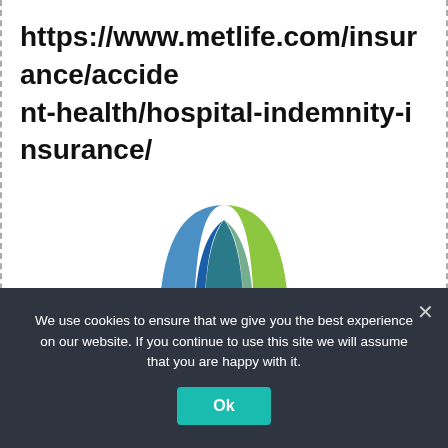https://www.metlife.com/insurance/accident-health/hospital-indemnity-insurance/
[Figure (logo): MetLife logo — stylized letter M made of two leaf/arch shapes, one blue (left) and one green (right), overlapping at the center to create a teal effect.]
We use cookies to ensure that we give you the best experience on our website. If you continue to use this site we will assume that you are happy with it.